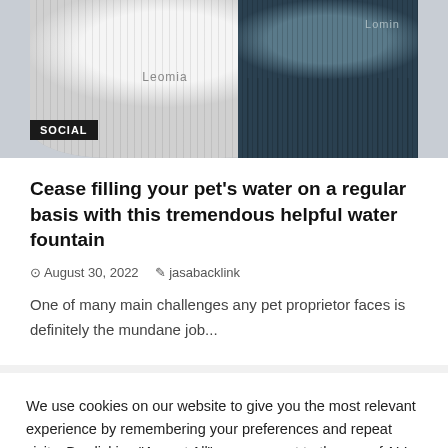[Figure (photo): Two pet water fountains side by side — a white/light grey one on the left labeled 'Leomia' and a dark grey/teal ribbed one on the right also labeled 'Lomin', with a 'SOCIAL' badge overlay on the bottom-left of the image.]
Cease filling your pet's water on a regular basis with this tremendous helpful water fountain
August 30, 2022  jasabacklink
One of many main challenges any pet proprietor faces is definitely the mundane job...
We use cookies on our website to give you the most relevant experience by remembering your preferences and repeat visits. By clicking "Accept All", you consent to the use of ALL the cookies. However, you may visit "Cookie Settings" to provide a controlled consent.